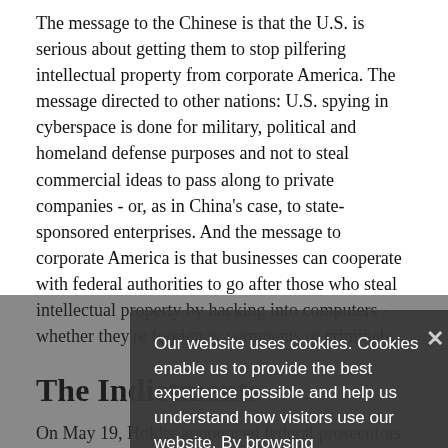The message to the Chinese is that the U.S. is serious about getting them to stop pilfering intellectual property from corporate America. The message directed to other nations: U.S. spying in cyberspace is done for military, political and homeland defense purposes and not to steal commercial ideas to pass along to private companies - or, as in China's case, to state-sponsored enterprises. And the message to corporate America is that businesses can cooperate with federal authorities to go after those who steal intellectual property by hacking into computers - whether they're foreign governments or criminals.
The Indictments
On May 19, Holder announced federal prosecutors indicted five officers of the People's Liberation Army for hacking into the computers of aluminum manufacturer Alcoa, specialty metals producer Allegheny Technologies, the U.S. subsidiaries of German solar power products...
Our website uses cookies. Cookies enable us to provide the best experience possible and help us understand how visitors use our website. By browsing govinfosecurity.com, you agree to our use of cookies.